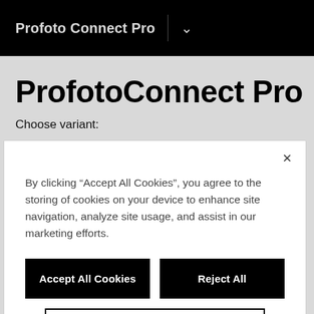Profoto Connect Pro
ProfotoConnect Pro
Choose variant:
Profoto Connect Pro for Canon
By clicking “Accept All Cookies”, you agree to the storing of cookies on your device to enhance site navigation, analyze site usage, and assist in our marketing efforts.
Accept All Cookies
Reject All
Cookies Settings